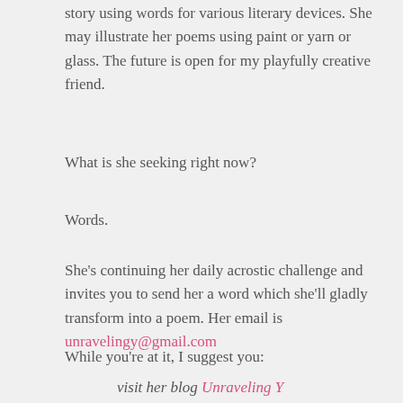story using words for various literary devices. She may illustrate her poems using paint or yarn or glass. The future is open for my playfully creative friend.
What is she seeking right now?
Words.
She's continuing her daily acrostic challenge and invites you to send her a word which she'll gladly transform into a poem. Her email is unravelingy@gmail.com
While you're at it, I suggest you:
visit her blog Unraveling Y